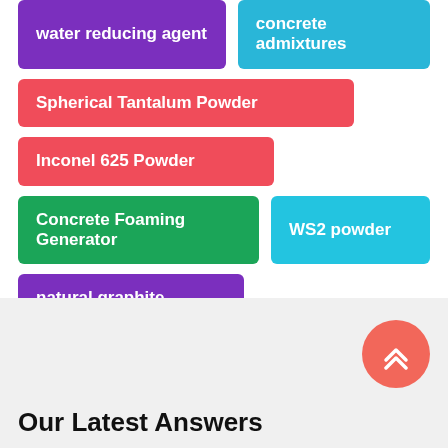water reducing agent
concrete admixtures
Spherical Tantalum Powder
Inconel 625 Powder
Concrete Foaming Generator
WS2 powder
natural graphite
Our Latest Answers